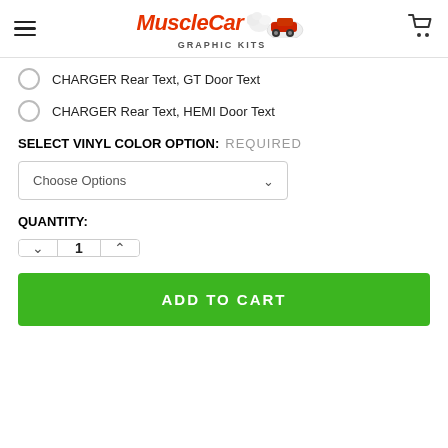MuscleCar Graphic Kits
CHARGER Rear Text, GT Door Text
CHARGER Rear Text, HEMI Door Text
SELECT VINYL COLOR OPTION: REQUIRED
Choose Options
QUANTITY:
1
ADD TO CART